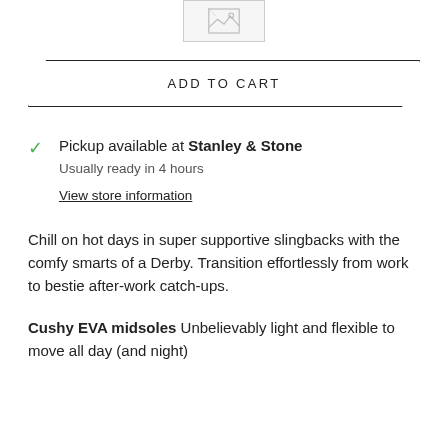[Figure (other): Broken/placeholder image icon at top center]
ADD TO CART
Pickup available at Stanley & Stone
Usually ready in 4 hours
View store information
Chill on hot days in super supportive slingbacks with the comfy smarts of a Derby. Transition effortlessly from work to bestie after-work catch-ups.
Cushy EVA midsoles Unbelievably light and flexible to move all day (and night)